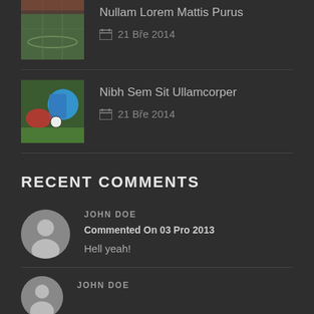[Figure (photo): Soccer field corner with green grass, stadium seats in background]
Nullam Lorem Mattis Purus
21 Bře 2014
[Figure (photo): Soccer players in action, two players competing for ball]
Nibh Sem Sit Ullamcorper
21 Bře 2014
RECENT COMMENTS
[Figure (photo): User avatar placeholder - grey circular silhouette]
JOHN DOE
Commented On 03 Pro 2013
Hell yeah!
[Figure (photo): User avatar placeholder - grey circular silhouette, partially visible]
JOHN DOE